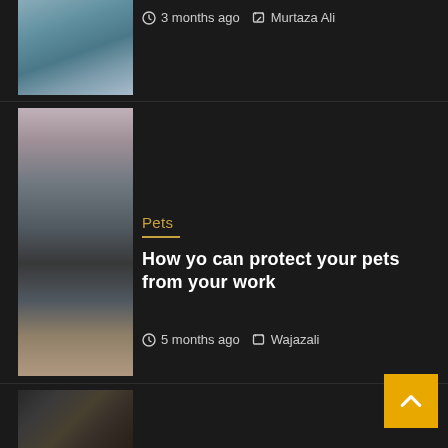[Figure (photo): Partial image of a person, upper portion cropped, appears to be a torso shot]
3 months ago  Murtaza Ali
[Figure (photo): Woman sitting with a dog on a bed, brown/blurred background]
Pets
How yo can protect your pets from your work
5 months ago  Wajazali
[Figure (photo): Partial image at bottom, appears to show objects on a surface]